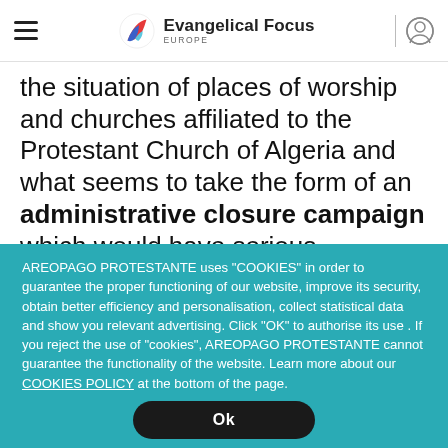Evangelical Focus Europe
the situation of places of worship and churches affiliated to the Protestant Church of Algeria and what seems to take the form of an administrative closure campaign which would have serious consequences for the
AREOPAGO PROTESTANTE uses "COOKIES" in order to guarantee the proper functioning of our website, improve its security, obtain better efficiency and personalisation, collect statistical data and show you relevant advertising. Click "OK" to authorise its use . If you reject the use of "cookies", AREOPAGO PROTESTANTE cannot guarantee the functionality of the website. Learn more about our COOKIES POLICY at the bottom of the page.